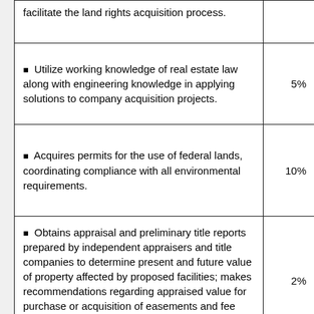| Description | % |
| --- | --- |
| facilitate the land rights acquisition process. |  |
| Utilize working knowledge of real estate law along with engineering knowledge in applying solutions to company acquisition projects. | 5% |
| Acquires permits for the use of federal lands, coordinating compliance with all environmental requirements. | 10% |
| Obtains appraisal and preliminary title reports prepared by independent appraisers and title companies to determine present and future value of property affected by proposed facilities; makes recommendations regarding appraised value for purchase or acquisition of easements and fee title. | 2% |